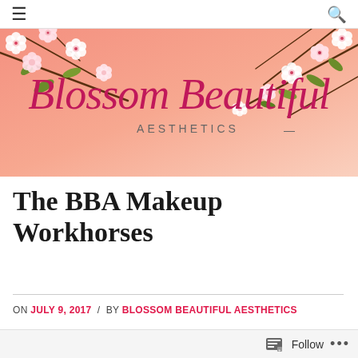≡  🔍
[Figure (logo): Blossom Beautiful Aesthetics banner with pink gradient background, cherry blossoms, and cursive script logo]
The BBA Makeup Workhorses
ON JULY 9, 2017 / BY BLOSSOM BEAUTIFUL AESTHETICS
Follow ...